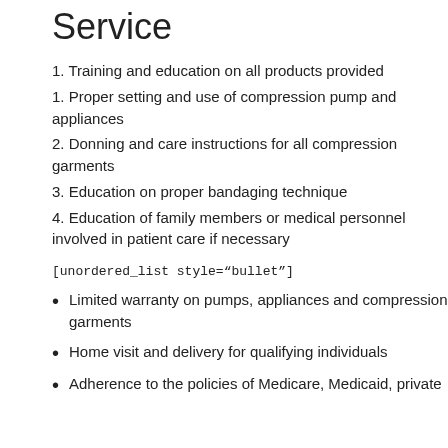Service
1. Training and education on all products provided
1. Proper setting and use of compression pump and appliances
2. Donning and care instructions for all compression garments
3. Education on proper bandaging technique
4. Education of family members or medical personnel involved in patient care if necessary
[unordered_list style="bullet"]
Limited warranty on pumps, appliances and compression garments
Home visit and delivery for qualifying individuals
Adherence to the policies of Medicare, Medicaid, private